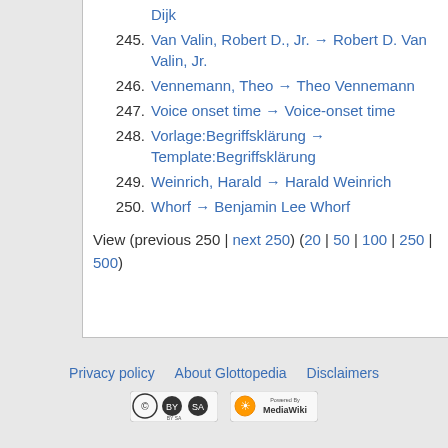Dijk
245. Van Valin, Robert D., Jr. → Robert D. Van Valin, Jr.
246. Vennemann, Theo → Theo Vennemann
247. Voice onset time → Voice-onset time
248. Vorlage:Begriffsklärung → Template:Begriffsklärung
249. Weinrich, Harald → Harald Weinrich
250. Whorf → Benjamin Lee Whorf
View (previous 250 | next 250) (20 | 50 | 100 | 250 | 500)
Privacy policy   About Glottopedia   Disclaimers